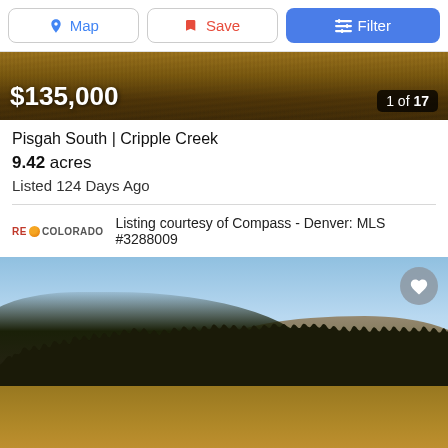Map | Save | Filter
[Figure (photo): Aerial or close-up photo of dry brush/vegetation hillside terrain in Colorado]
$135,000
1 of 17
Pisgah South | Cripple Creek
9.42 acres
Listed 124 Days Ago
Listing courtesy of Compass - Denver: MLS #3288009
[Figure (photo): Landscape photo of rolling hills with dark treeline, blue sky, and dry golden grass in foreground near Cripple Creek, Colorado]